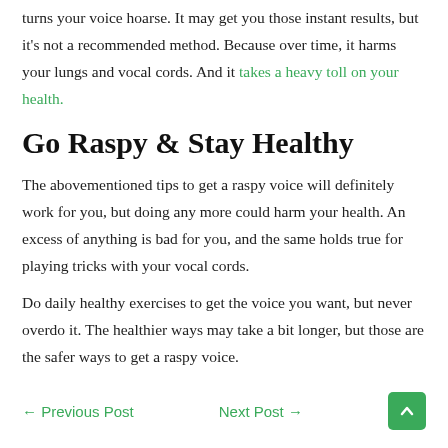turns your voice hoarse. It may get you those instant results, but it's not a recommended method. Because over time, it harms your lungs and vocal cords. And it takes a heavy toll on your health.
Go Raspy & Stay Healthy
The abovementioned tips to get a raspy voice will definitely work for you, but doing any more could harm your health. An excess of anything is bad for you, and the same holds true for playing tricks with your vocal cords.
Do daily healthy exercises to get the voice you want, but never overdo it. The healthier ways may take a bit longer, but those are the safer ways to get a raspy voice.
← Previous Post    Next Post →